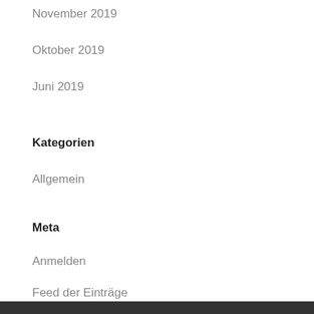November 2019
Oktober 2019
Juni 2019
Kategorien
Allgemein
Meta
Anmelden
Feed der Einträge
Kommentare-Feed
WordPress.org